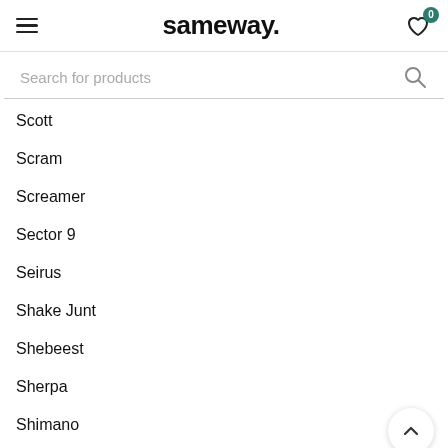sameway.
Search for products
Scott
Scram
Screamer
Sector 9
Seirus
Shake Junt
Shebeest
Sherpa
Shimano